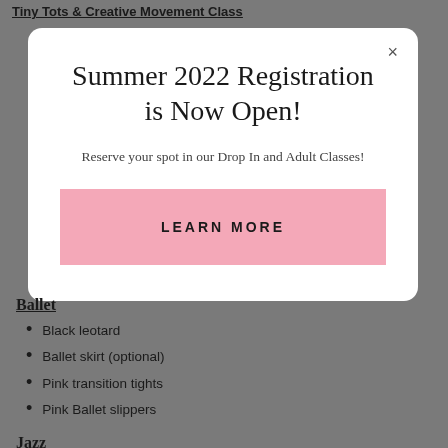Tiny Tots & Creative Movement Class
Summer 2022 Registration is Now Open!
Reserve your spot in our Drop In and Adult Classes!
LEARN MORE
Ballet
Black leotard
Ballet skirt (optional)
Pink transition tights
Pink Ballet slippers
Jazz
Any color leotard